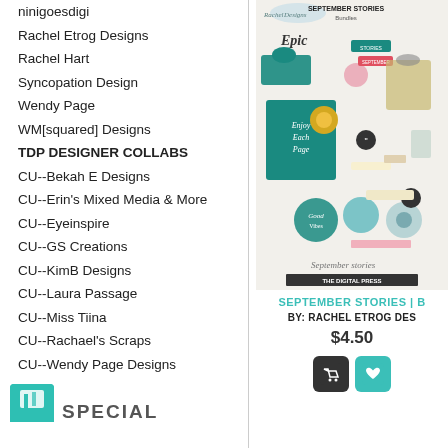ninigoesdigi
Rachel Etrog Designs
Rachel Hart
Syncopation Design
Wendy Page
WM[squared] Designs
TDP DESIGNER COLLABS
CU--Bekah E Designs
CU--Erin's Mixed Media & More
CU--Eyeinspire
CU--GS Creations
CU--KimB Designs
CU--Laura Passage
CU--Miss Tiina
CU--Rachael's Scraps
CU--Wendy Page Designs
[Figure (photo): Product image for September Stories Bundles by Rachel Etrog Designs with The Digital Press branding]
SEPTEMBER STORIES | B
BY: RACHEL ETROG DES
$4.50
SPECIAL